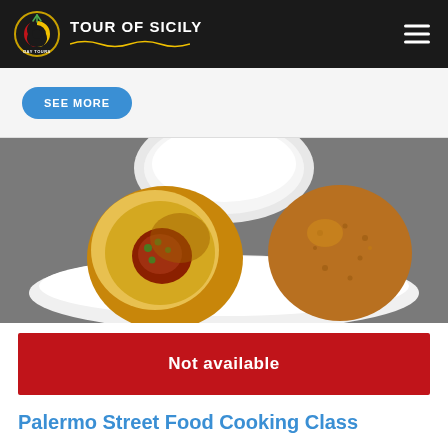TOUR OF SICILY
SEE MORE
[Figure (photo): Two arancini (Sicilian fried rice balls) on a white plate — one cut open revealing meat and pea filling, one whole — with a white bowl in the background on a gray surface.]
Not available
Palermo Street Food Cooking Class